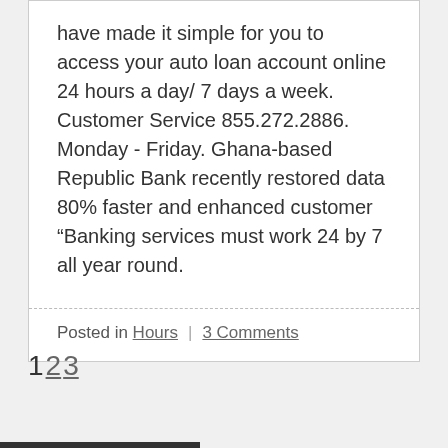have made it simple for you to access your auto loan account online 24 hours a day/ 7 days a week. Customer Service 855.272.2886. Monday - Friday. Ghana-based Republic Bank recently restored data 80% faster and enhanced customer “Banking services must work 24 by 7 all year round.
Posted in Hours | 3 Comments
1 2 3